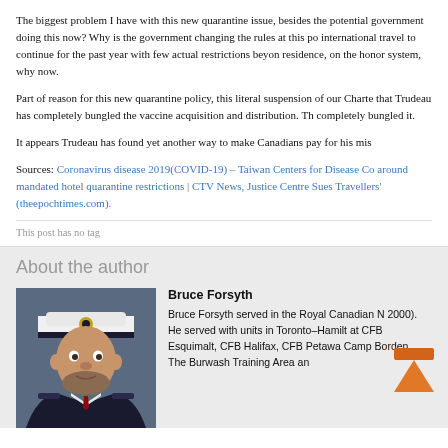The biggest problem I have with this new quarantine issue, besides the potential government doing this now? Why is the government changing the rules at this po international travel to continue for the past year with few actual restrictions beyon residence, on the honor system, why now.
Part of reason for this new quarantine policy, this literal suspension of our Charte that Trudeau has completely bungled the vaccine acquisition and distribution. Th completely bungled it.
It appears Trudeau has found yet another way to make Canadians pay for his mis
Sources: Coronavirus disease 2019(COVID-19) – Taiwan Centers for Disease Co around mandated hotel quarantine restrictions | CTV News, Justice Centre Sues Travellers' (theepochtimes.com).
This post has no tag
About the author
Bruce Forsyth
Bruce Forsyth served in the Royal Canadian N 2000). He served with units in Toronto–Hamilt at CFB Esquimalt, CFB Halifax, CFB Petawa Camp Borden, The Burwash Training Area an
[Figure (photo): Portrait photo of Bruce Forsyth in Royal Canadian Navy uniform with white officer cap]